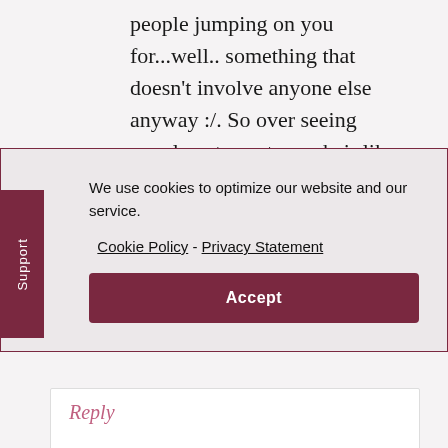people jumping on you for...well.. something that doesn't involve anyone else anyway :/. So over seeing people get upset over hair like its not our hair
We use cookies to optimize our website and our service.  Cookie Policy - Privacy Statement
Accept
Support
Reply